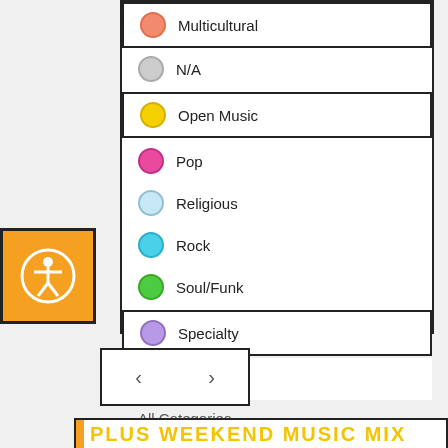Multicultural
N/A
Open Music
Pop
Religious
Rock
Soul/Funk
Specialty
Talk Radio
All Categories
[Figure (other): Accessibility icon button (orange square with person-in-circle symbol)]
[Figure (other): Navigation arrows: left chevron and right chevron in a bordered box]
PLUS WEEKEND MUSIC MIX